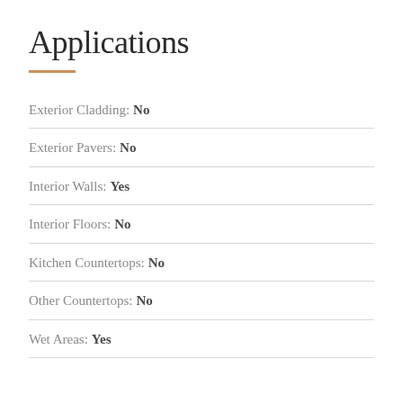Applications
Exterior Cladding: No
Exterior Pavers: No
Interior Walls: Yes
Interior Floors: No
Kitchen Countertops: No
Other Countertops: No
Wet Areas: Yes